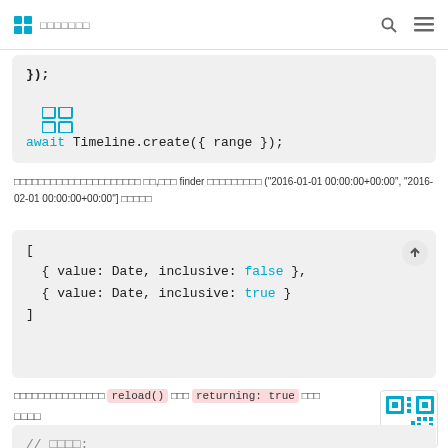□□□ □□□□□□□
[Figure (other): Code block showing: }); [grid icon] await Timeline.create({ range });]
Thai text describing finder with date range ["2016-01-01 00:00:00+00:00", "2016-02-01 00:00:00+00:00"]
[Figure (other): Code block showing array with value: Date, inclusive: false and value: Date, inclusive: true]
Thai text mentioning reload() and returning: true
□□□□
[Figure (screenshot): Code block starting with // comment in Thai]